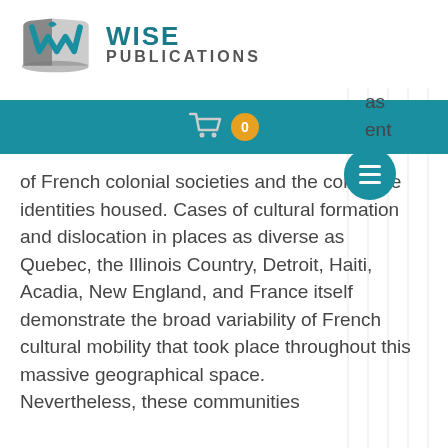[Figure (logo): Wise Publications logo with open book icon and teal/grey text]
[Figure (screenshot): Teal navigation bar with cart icon showing badge of 0, and circular menu button]
as
ent
of French colonial societies and the collective identities housed. Cases of cultural formation and dislocation in places as diverse as Quebec, the Illinois Country, Detroit, Haiti, Acadia, New England, and France itself demonstrate the broad variability of French cultural mobility that took place throughout this massive geographical space.
Nevertheless, these communities